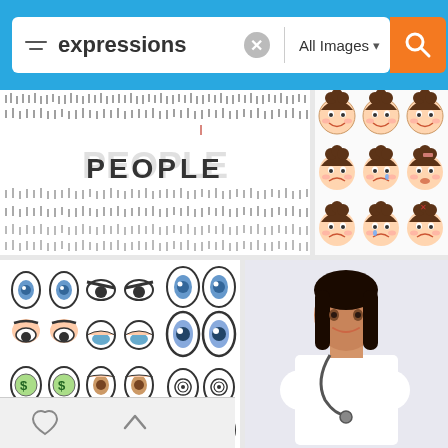[Figure (screenshot): Search bar UI with filter icon, search term 'expressions', X clear button, 'All Images' dropdown, and orange search button on cyan/blue background]
[Figure (photo): Collage of many tiny business people figures arranged to spell 'PEOPLE']
[Figure (illustration): Grid of cartoon child face emoji expressions showing various emotions]
[Figure (illustration): Grid of cartoon eyes with various expressions including dollar-sign eyes, surprised eyes, angry eyes, sleepy eyes]
[Figure (photo): Female doctor in white coat with stethoscope, arms crossed, smiling]
[Figure (illustration): Cartoon girl face illustrations with cute expressions]
[Figure (photo): Three women with dark curly hair showing different facial expressions]